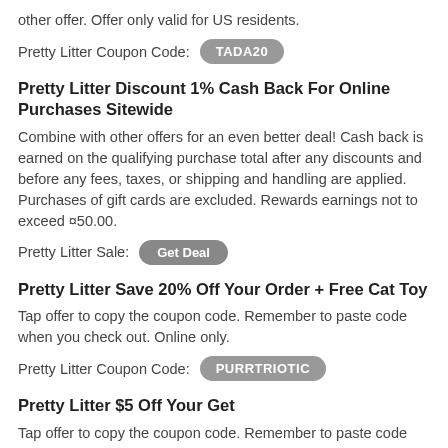other offer. Offer only valid for US residents.
Pretty Litter Coupon Code: TADA20
Pretty Litter Discount 1% Cash Back For Online Purchases Sitewide
Combine with other offers for an even better deal! Cash back is earned on the qualifying purchase total after any discounts and before any fees, taxes, or shipping and handling are applied. Purchases of gift cards are excluded. Rewards earnings not to exceed ¤50.00.
Pretty Litter Sale: Get Deal
Pretty Litter Save 20% Off Your Order + Free Cat Toy
Tap offer to copy the coupon code. Remember to paste code when you check out. Online only.
Pretty Litter Coupon Code: PURRTRIOIC
Pretty Litter $5 Off Your Get
Tap offer to copy the coupon code. Remember to paste code when you check out. Online only.